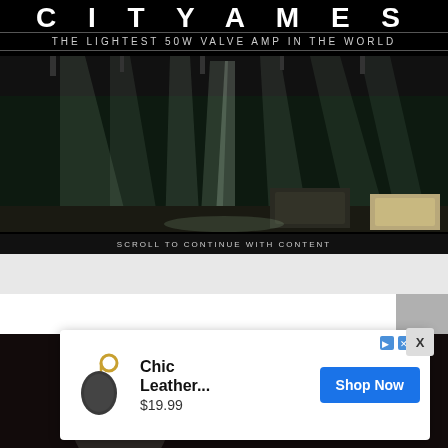THE LIGHTEST 50W VALVE AMP IN THE WORLD
[Figure (photo): Stage with dramatic concert lighting beams shining down, guitar amplifiers visible at the bottom]
SCROLL TO CONTINUE WITH CONTENT
RIG RUNDOWNS
LATEST
[Figure (photo): Dark thumbnail strip showing a music-related image]
[Figure (screenshot): Advertisement overlay showing a leather keychain accessory product with price $19.99 and Shop Now button]